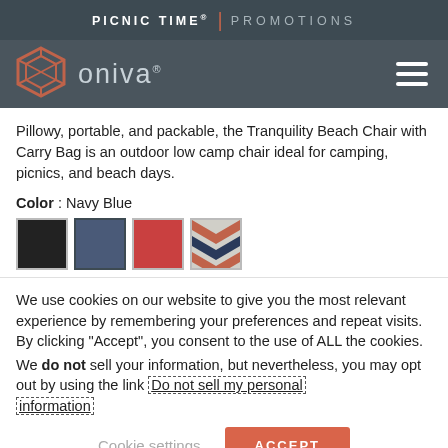PICNIC TIME | PROMOTIONS
[Figure (logo): Oniva brand logo with hexagonal geometric icon in coral/orange and 'ONIVA' text in gray, with hamburger menu icon on the right]
Pillowy, portable, and packable, the Tranquility Beach Chair with Carry Bag is an outdoor low camp chair ideal for camping, picnics, and beach days.
Color : Navy Blue
[Figure (other): Four color swatches: black, navy blue (selected), red, and a chevron/arrow print pattern]
We use cookies on our website to give you the most relevant experience by remembering your preferences and repeat visits. By clicking “Accept”, you consent to the use of ALL the cookies. We do not sell your information, but nevertheless, you may opt out by using the link Do not sell my personal information
Cookie settings
ACCEPT